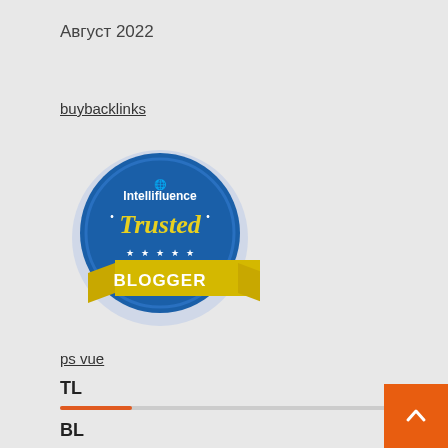Август 2022
buybacklinks
[Figure (logo): Intellifluence Trusted Blogger badge — circular blue badge with 'Intellifluence' text at top, 'Trusted' in yellow italic script, and 'BLOGGER' on a yellow ribbon banner below]
ps vue
TL
BL